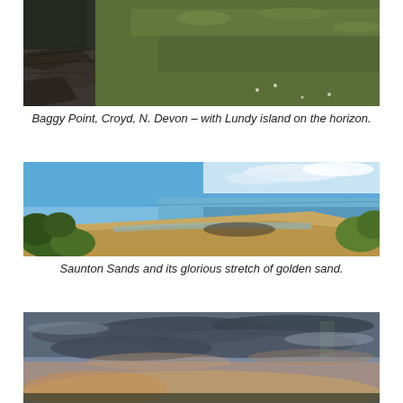[Figure (photo): Coastal cliff scene at Baggy Point, Croyd, N. Devon, showing rocky shoreline and grassy hillside with Lundy island visible on the horizon.]
Baggy Point, Croyd, N. Devon – with Lundy island on the horizon.
[Figure (photo): Panoramic view of Saunton Sands beach with golden sand, blue sky, and green coastal vegetation in the foreground.]
Saunton Sands and its glorious stretch of golden sand.
[Figure (photo): Dramatic cloudy sunset sky over coastal scenery with warm orange and grey tones.]